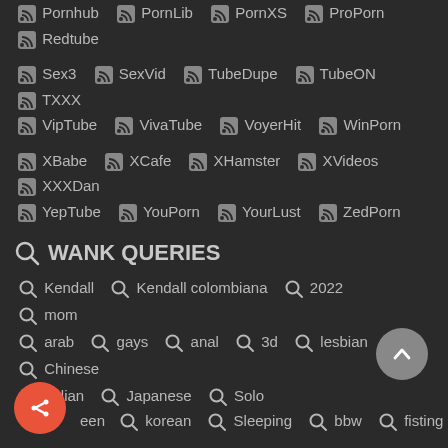Pornhub PornLib PornXS ProPorn Redtube
Sex3 SexVid TubeDupe TubeON TXXX
VipTube VivaTube VoyerHit WinPorn
XBabe XCafe XHamster XVideos XXXDan
YepTube YouPorn YourLust ZedPorn
WANK QUERIES
Kendall  Kendall colombiana  2022  mom
arab  gays  anal  3d  lesbian  Chinese
indian  Japanese  Solo
teen  korean  Sleeping  bbw  fisting